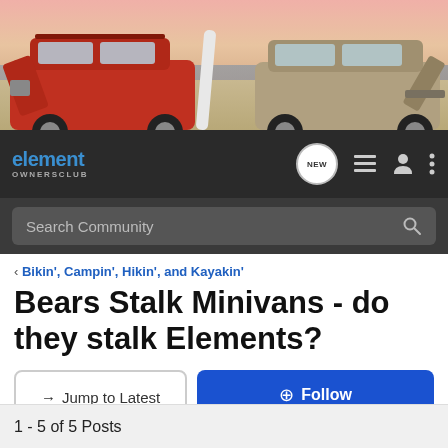[Figure (photo): Honda Element vehicles at a beach scene — a red Element with doors open on the left and a tan/grey Element on the right with rear hatch open, surfboards visible, ocean and pink sky in background.]
element OWNERSCLUB  NEW  [icons]  Search Community
< Bikin', Campin', Hikin', and Kayakin'
Bears Stalk Minivans - do they stalk Elements?
→ Jump to Latest    ⊕ Follow
1 - 5 of 5 Posts